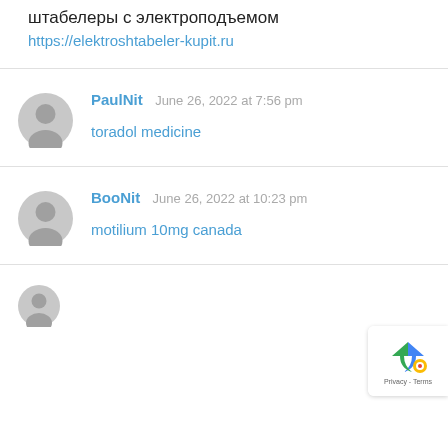штабелеры с электроподъемом
https://elektroshtabeler-kupit.ru
PaulNit  June 26, 2022 at 7:56 pm
toradol medicine
BooNit  June 26, 2022 at 10:23 pm
motilium 10mg canada